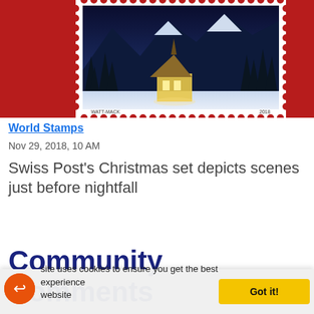[Figure (photo): A Swiss Christmas stamp showing a snow-covered chapel in a mountain valley at dusk, with pine trees, mountains in the background, and the stamp's perforated border visible on a red background.]
World Stamps
Nov 29, 2018, 10 AM
Swiss Post's Christmas set depicts scenes just before nightfall
Community Comments
site uses cookies to ensure you get the best experience website  Got it!